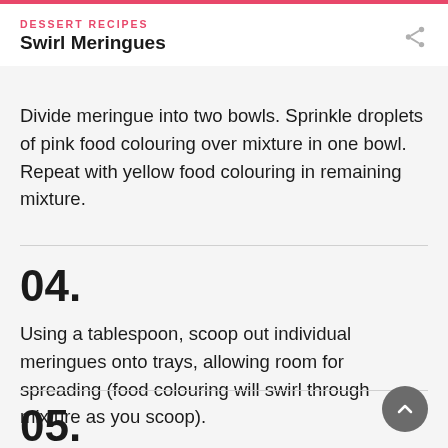DESSERT RECIPES
Swirl Meringues
Divide meringue into two bowls. Sprinkle droplets of pink food colouring over mixture in one bowl. Repeat with yellow food colouring in remaining mixture.
04.
Using a tablespoon, scoop out individual meringues onto trays, allowing room for spreading (food colouring will swirl through mixture as you scoop).
05.